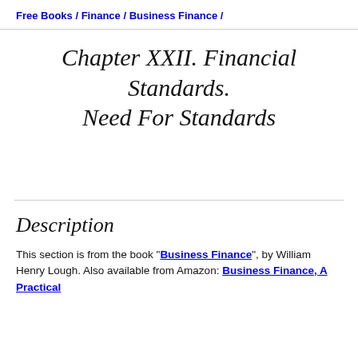Free Books / Finance / Business Finance /
Chapter XXII. Financial Standards. Need For Standards
Description
This section is from the book "Business Finance", by William Henry Lough. Also available from Amazon: Business Finance, A Practical